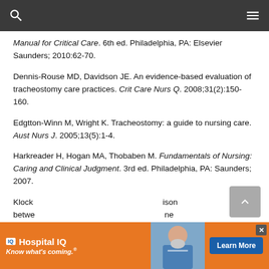Manual for Critical Care. 6th ed. Philadelphia, PA: Elsevier Saunders; 2010:62-70.
Dennis-Rouse MD, Davidson JE. An evidence-based evaluation of tracheostomy care practices. Crit Care Nurs Q. 2008;31(2):150-160.
Edgtton-Winn M, Wright K. Tracheostomy: a guide to nursing care. Aust Nurs J. 2005;13(5):1-4.
Harkreader H, Hogan MA, Thobaben M. Fundamentals of Nursing: Caring and Clinical Judgment. 3rd ed. Philadelphia, PA: Saunders; 2007.
Klock... son betwe... ne
[Figure (other): Advertisement banner for Hospital IQ with tagline 'Know what's coming.' and a Learn More button, overlaid at the bottom of the page. Features a photo of a masked healthcare worker.]